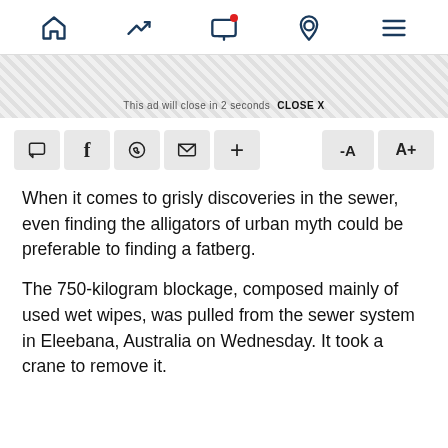[Navigation bar with home, trending, screen, location, menu icons]
[Figure (screenshot): Ad banner with diagonal stripe pattern]
This ad will close in 2 seconds   CLOSE X
[Figure (screenshot): Toolbar with comment, Facebook, WhatsApp, email, plus, font decrease (-A) and font increase (A+) buttons]
When it comes to grisly discoveries in the sewer, even finding the alligators of urban myth could be preferable to finding a fatberg.
The 750-kilogram blockage, composed mainly of used wet wipes, was pulled from the sewer system in Eleebana, Australia on Wednesday. It took a crane to remove it.